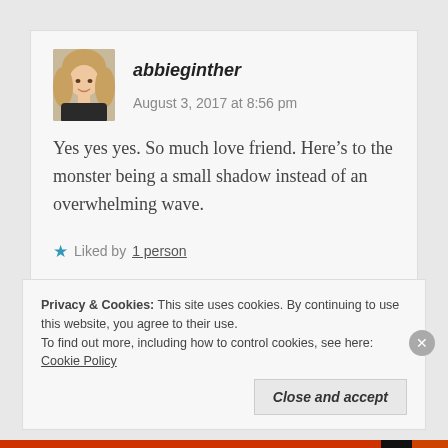[Figure (photo): Avatar photo of a blonde woman]
abbieginther   August 3, 2017 at 8:56 pm
Yes yes yes. So much love friend. Here’s to the monster being a small shadow instead of an overwhelming wave.
★ Liked by 1 person
Reply
Privacy & Cookies: This site uses cookies. By continuing to use this website, you agree to their use.
To find out more, including how to control cookies, see here: Cookie Policy
Close and accept